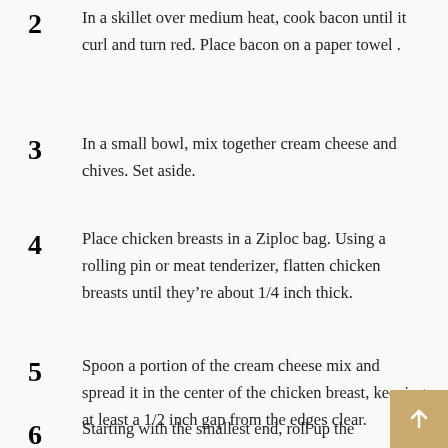2  In a skillet over medium heat, cook bacon until it curl and turn red. Place bacon on a paper towel .
3  In a small bowl, mix together cream cheese and chives. Set aside.
4  Place chicken breasts in a Ziploc bag. Using a rolling pin or meat tenderizer, flatten chicken breasts until they’re about 1/4 inch thick.
5  Spoon a portion of the cream cheese mix and spread it in the center of the chicken breast, keeping at least a 1/2 inch gap from the edges clear.
6  Starting with the smallest end, roll up the